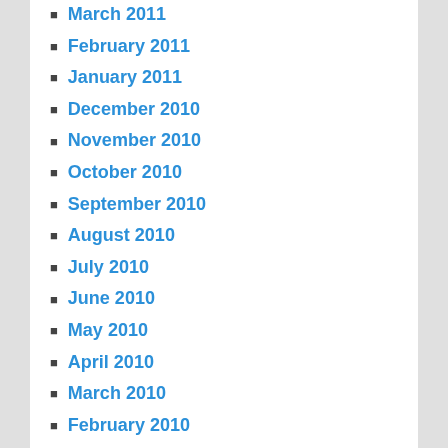March 2011
February 2011
January 2011
December 2010
November 2010
October 2010
September 2010
August 2010
July 2010
June 2010
May 2010
April 2010
March 2010
February 2010
January 2010
December 2009
November 2009
META
Log in
Entries feed